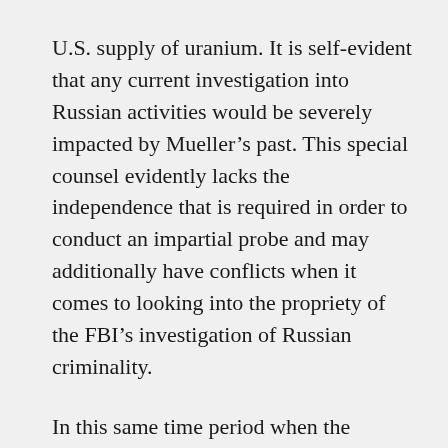U.S. supply of uranium. It is self-evident that any current investigation into Russian activities would be severely impacted by Mueller’s past. This special counsel evidently lacks the independence that is required in order to conduct an impartial probe and may additionally have conflicts when it comes to looking into the propriety of the FBI’s investigation of Russian criminality.
In this same time period when the Journal is applying pressure on Mueller and several scandals that implicate the Hillary Clinton campaign and Democratic National Committee are dominating much of the